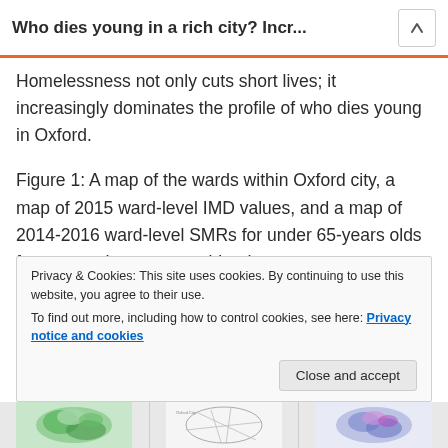Who dies young in a rich city? Incr...
Homelessness not only cuts short lives; it increasingly dominates the profile of who dies young in Oxford.
Figure 1: A map of the wards within Oxford city, a map of 2015 ward-level IMD values, and a map of 2014-2016 ward-level SMRs for under 65-years olds for men and women combined.
Privacy & Cookies: This site uses cookies. By continuing to use this website, you agree to their use.
To find out more, including how to control cookies, see here: Privacy notice and cookies
[Figure (map): Three small map thumbnails showing wards within Oxford city, 2015 ward-level IMD values, and 2014-2016 ward-level SMRs for under 65-year-olds for men and women combined.]